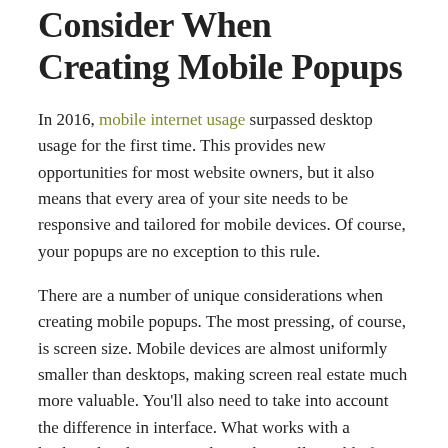Consider When Creating Mobile Popups
In 2016, mobile internet usage surpassed desktop usage for the first time. This provides new opportunities for most website owners, but it also means that every area of your site needs to be responsive and tailored for mobile devices. Of course, your popups are no exception to this rule.
There are a number of unique considerations when creating mobile popups. The most pressing, of course, is screen size. Mobile devices are almost uniformly smaller than desktops, making screen real estate much more valuable. You'll also need to take into account the difference in interface. What works with a keyboard and mouse might not be at all suitable for a touchscreen UI.